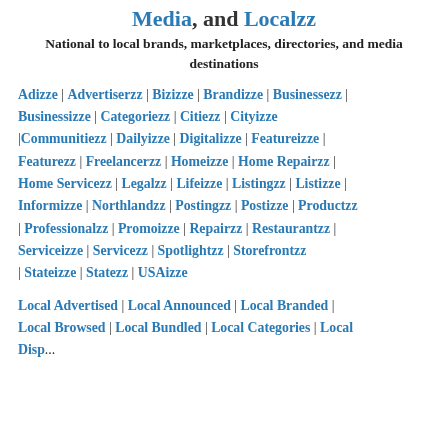Media, and Localzz
National to local brands, marketplaces, directories, and media destinations
Adizze | Advertiserzz | Bizizze | Brandizze | Businessezz | Businessizze | Categoriezz | Citiezz | Cityizze |Communitiezz | Dailyizze | Digitalizze | Featureizze | Featurezz | Freelancerzz | Homeizze | Home Repairzz | Home Servicezz | Legalzz | Lifeizze | Listingzz | Listizze | Informizze | Northlandzz | Postingzz | Postizze | Productzz | Professionalzz | Promoizze | Repairzz | Restaurantzz | Serviceizze | Servicezz | Spotlightzz | Storefrontzz | Stateizze | Statezz | USAizze
Local Advertised | Local Announced | Local Branded | Local Browsed | Local Bundled | Local Categories | Local Displayed | Local Employed | Local Featured | Local...